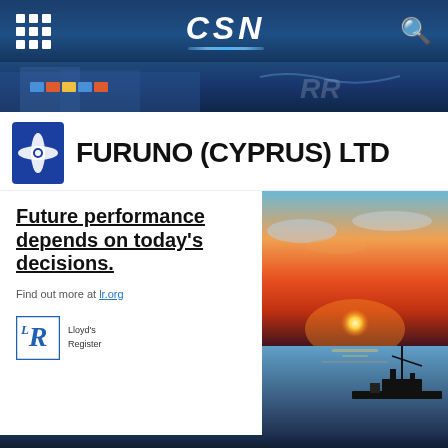CSN (navigation bar with grid icon and search icon)
[Figure (screenshot): Dark blue banner strip with shipping/container imagery and logo marks]
FURUNO (CYPRUS) LTD
[Figure (illustration): Lloyd's Register advertisement: 'Future performance depends on today's decisions.' with sunset/ship photo, lr.org link, and Lloyd's Register logo]
[Figure (photo): Sunset over ocean with ship silhouette on the right side of the ad]